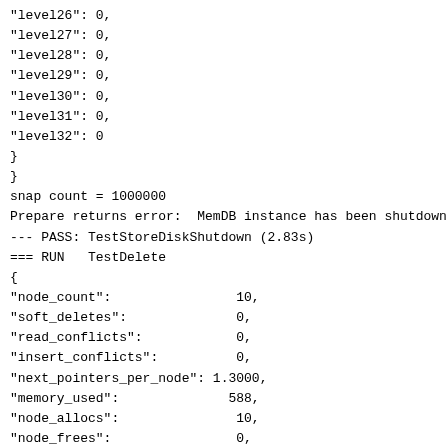"level26": 0,
"level27": 0,
"level28": 0,
"level29": 0,
"level30": 0,
"level31": 0,
"level32": 0
}
}
snap count = 1000000
Prepare returns error:  MemDB instance has been shutdown
--- PASS: TestStoreDiskShutdown (2.83s)
=== RUN   TestDelete
{
"node_count":                10,
"soft_deletes":              0,
"read_conflicts":            0,
"insert_conflicts":          0,
"next_pointers_per_node": 1.3000,
"memory_used":              588,
"node_allocs":               10,
"node_frees":                0,
"level_node_distribution":{
"level0": 8,
"level1": 1,
"level2": 1,
"level3": 0,
"level4": 0,
"level5": 0,
"level6": 0,